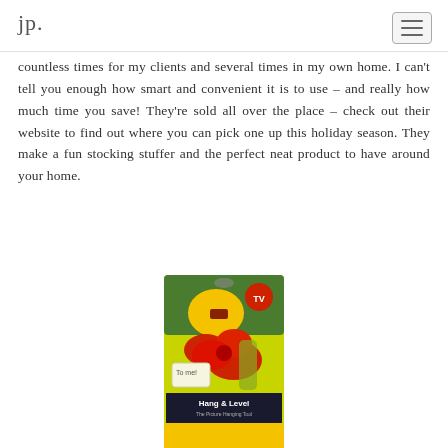jp.
countless times for my clients and several times in my own home.  I can't tell you enough how smart and convenient it is to use – and really how much time you save!  They're sold all over the place – check out their website to find out where you can pick one up this holiday season.  They make a fun stocking stuffer and the perfect neat product to have around your home.
[Figure (photo): Product photo of 'Hang & Level' picture hanging tool in retail packaging with a red decorative bow, showing a woman hanging pictures on a wall on the package front.]